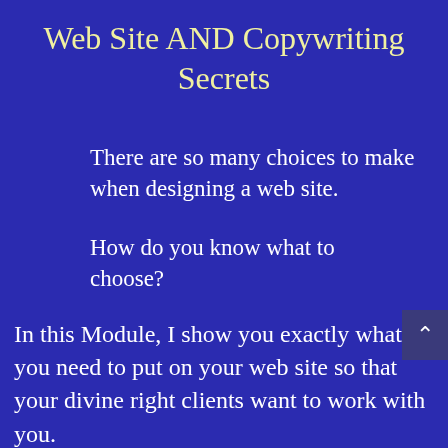Web Site AND Copywriting Secrets
There are so many choices to make when designing a web site.
How do you know what to choose?
In this Module, I show you exactly what you need to put on your web site so that your divine right clients want to work with you.